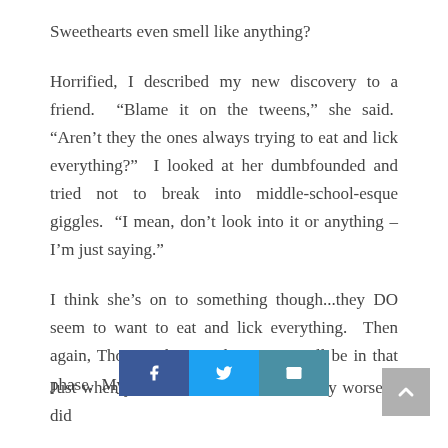Sweethearts even smell like anything?
Horrified, I described my new discovery to a friend.  “Blame it on the tweens,” she said.  “Aren’t they the ones always trying to eat and lick everything?”  I looked at her dumbfounded and tried not to break into middle-school-esque giggles.  “I mean, don’t look into it or anything – I’m just saying.”
I think she’s on to something though...they DO seem to want to eat and lick everything.  Then again, Thom is thirty and seems to still be in that phase.  My cat may also be a tween.
Just when you th any worse, I did